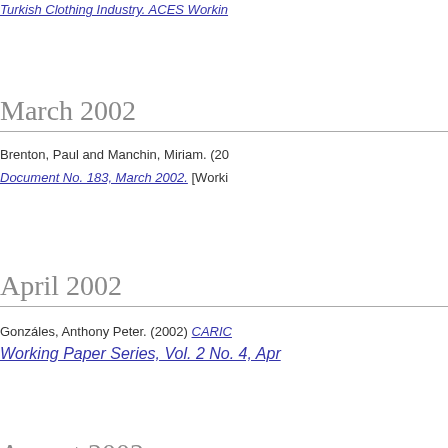Turkish Clothing Industry. ACES Workin…
March 2002
Brenton, Paul and Manchin, Miriam. (20…
Document No. 183, March 2002. [Worki…
April 2002
Gonzáles, Anthony Peter. (2002) CARIC…
Working Paper Series, Vol. 2 No. 4, Apr…
August 2002
…